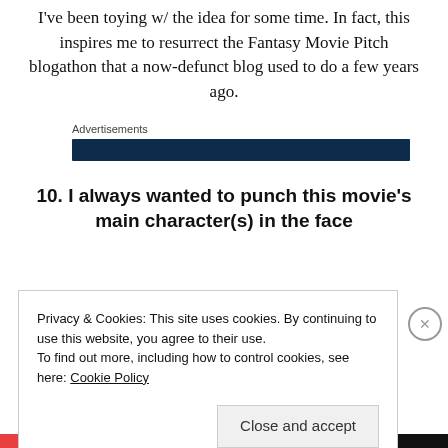I've been toying w/ the idea for some time. In fact, this inspires me to resurrect the Fantasy Movie Pitch blogathon that a now-defunct blog used to do a few years ago.
Advertisements
10. I always wanted to punch this movie's main character(s) in the face
Privacy & Cookies: This site uses cookies. By continuing to use this website, you agree to their use.
To find out more, including how to control cookies, see here: Cookie Policy
Close and accept